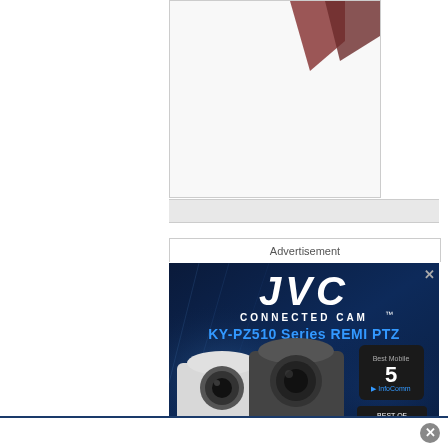[Figure (photo): Partial image visible at top of page, appears to be a partially cut-off image with brown/red angular shapes on white background]
Advertisement
[Figure (photo): JVC Connected Cam advertisement banner featuring the KY-PZ510 Series REMI PTZ cameras on dark blue background. Shows two PTZ cameras (one white, one dark), JVC logo, product name, and award badges including Top 5 at InfoComm and Best of Show from Sound & Video Contractor.]